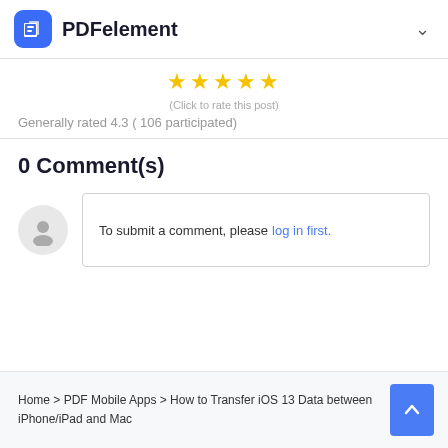PDFelement
[Figure (other): Five star rating icons (filled gold stars)]
(Click to rate this post)
Generally rated 4.3 ( 106 participated)
0 Comment(s)
To submit a comment, please log in first.
Home > PDF Mobile Apps > How to Transfer iOS 13 Data between iPhone/iPad and Mac